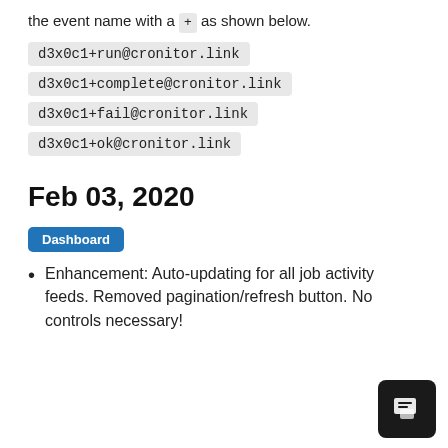the event name with a + as shown below.
d3x0c1+run@cronitor.link
d3x0c1+complete@cronitor.link
d3x0c1+fail@cronitor.link
d3x0c1+ok@cronitor.link
Feb 03, 2020
Dashboard
Enhancement: Auto-updating for all job activity feeds. Removed pagination/refresh button. No controls necessary!